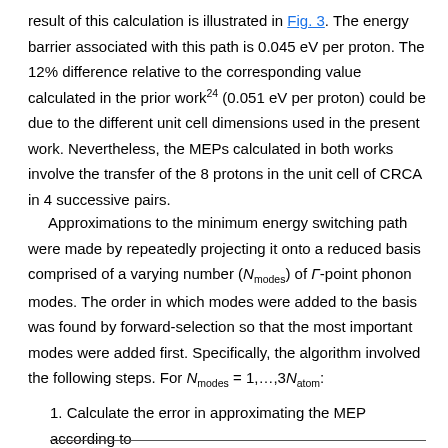result of this calculation is illustrated in Fig. 3. The energy barrier associated with this path is 0.045 eV per proton. The 12% difference relative to the corresponding value calculated in the prior work24 (0.051 eV per proton) could be due to the different unit cell dimensions used in the present work. Nevertheless, the MEPs calculated in both works involve the transfer of the 8 protons in the unit cell of CRCA in 4 successive pairs.
Approximations to the minimum energy switching path were made by repeatedly projecting it onto a reduced basis comprised of a varying number (Nmodes) of Γ-point phonon modes. The order in which modes were added to the basis was found by forward-selection so that the most important modes were added first. Specifically, the algorithm involved the following steps. For Nmodes = 1,...,3Natom:
1. Calculate the error in approximating the MEP according to